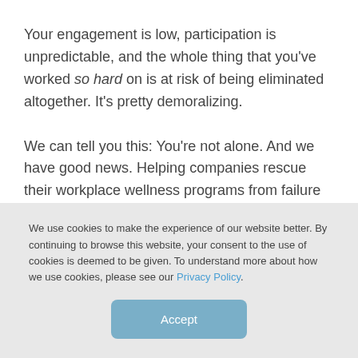Your engagement is low, participation is unpredictable, and the whole thing that you've worked so hard on is at risk of being eliminated altogether. It's pretty demoralizing.
We can tell you this: You're not alone. And we have good news. Helping companies rescue their workplace wellness programs from failure is very much what we do. (We even wrote a guide on it called Best Practices for Workplace Wellness Program Success. Take a look at it,
We use cookies to make the experience of our website better. By continuing to browse this website, your consent to the use of cookies is deemed to be given. To understand more about how we use cookies, please see our Privacy Policy.